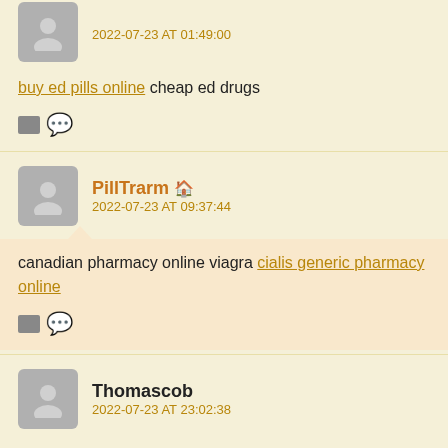2022-07-23 AT 01:49:00
buy ed pills online cheap ed drugs
PillTrarm 2022-07-23 AT 09:37:44
canadian pharmacy online viagra cialis generic pharmacy online
Thomascob 2022-07-23 AT 23:02:38
https://onlinepharmacy.men/# all in one pharmacy